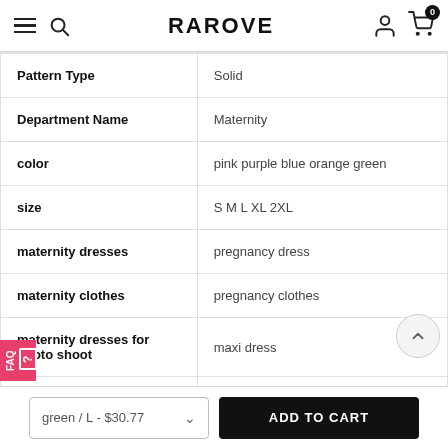RAROVE
| Attribute | Value |
| --- | --- |
| Pattern Type | Solid |
| Department Name | Maternity |
| color | pink purple blue orange green |
| size | S M L XL 2XL |
| maternity dresses | pregnancy dress |
| maternity clothes | pregnancy clothes |
| maternity dresses for photo shoot | maxi dress |
green / L - $30.77
ADD TO CART